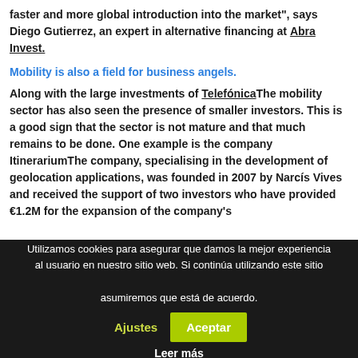faster and more global introduction into the market", says Diego Gutierrez, an expert in alternative financing at Abra Invest.
Mobility is also a field for business angels.
Along with the large investments of TelefónicaThe mobility sector has also seen the presence of smaller investors. This is a good sign that the sector is not mature and that much remains to be done. One example is the company ItinerariumThe company, specialising in the development of geolocation applications, was founded in 2007 by Narcís Vives and received the support of two investors who have provided €1.2M for the expansion of the company's
Utilizamos cookies para asegurar que damos la mejor experiencia al usuario en nuestro sitio web. Si continúa utilizando este sitio asumiremos que está de acuerdo. Ajustes Aceptar Leer más